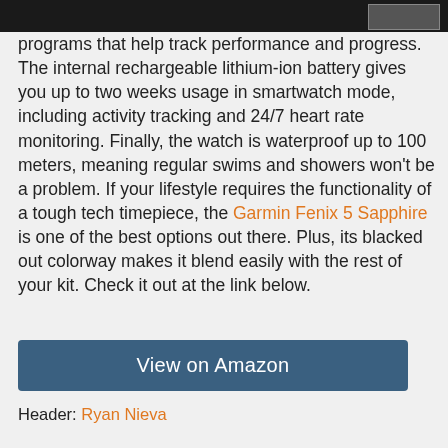programs that help track performance and progress. The internal rechargeable lithium-ion battery gives you up to two weeks usage in smartwatch mode, including activity tracking and 24/7 heart rate monitoring. Finally, the watch is waterproof up to 100 meters, meaning regular swims and showers won't be a problem. If your lifestyle requires the functionality of a tough tech timepiece, the Garmin Fenix 5 Sapphire is one of the best options out there. Plus, its blacked out colorway makes it blend easily with the rest of your kit. Check it out at the link below.
View on Amazon
Header: Ryan Nieva